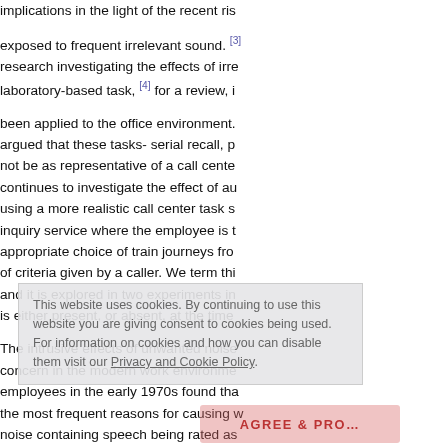implications in the light of the recent ris... exposed to frequent irrelevant sound. [3] research investigating the effects of irre... laboratory-based task, [4] for a review, i...
been applied to the office environment. argued that these tasks- serial recall, p... not be as representative of a call cente... continues to investigate the effect of au... using a more realistic call center task s... inquiry service where the employee is t... appropriate choice of train journeys fro... of criteria given by a caller. We term thi... and it is explored in two experiments in... is either present, or absent, at the time...
The intrusive effects of unwanted noise... concern in the modern work environme... employees in the early 1970s found tha... the most frequent reasons for causing w... noise containing speech being rated as... noises. [11] More recently, it has been s... contributory factor in so-called Sick-Bui...
This website uses cookies. By continuing to use this website you are giving consent to cookies being used. For information on cookies and how you can disable them visit our Privacy and Cookie Policy.
AGREE & PROCEED